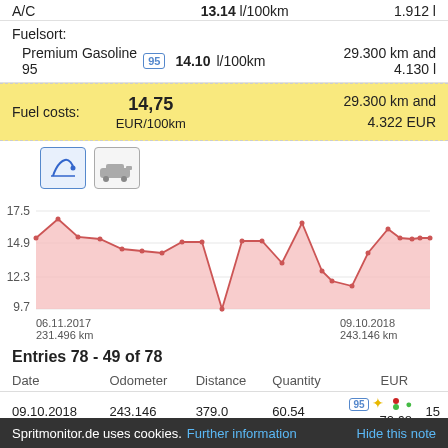A/C    13.14 l/100km    1.912 l
Fuelsort:
Premium Gasoline 95  14.10 l/100km  29.300 km and 4.130 l
| Fuel costs: | 14,75 EUR/100km | 29.300 km and 4.322 EUR |
| --- | --- | --- |
[Figure (area-chart): Fuel consumption over time]
Entries 78 - 49 of 78
| Date | Odometer | Distance | Quantity | EUR |  |
| --- | --- | --- | --- | --- | --- |
| 09.10.2018 | 243.146 | 379.0 | 60.54 | 70.68 | 15 |
Spritmonitor.de uses cookies. Further information   Hide this note